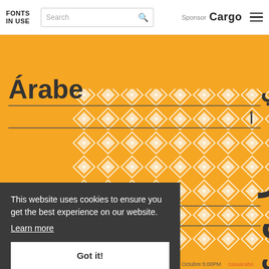FONTS IN USE | Search | Sponsor Cargo ≡
[Figure (illustration): Orange/yellow poster for Casa Árabe featuring large Arabic and Spanish text 'Árabe' and Arabic script on a geometric white diamond pattern background. Text includes 'الشعر العربي' and 'مدري'. Horizontal dark lines and a 'Casa Árabe' label in center.]
This website uses cookies to ensure you get the best experience on our website.
Learn more
Got it!